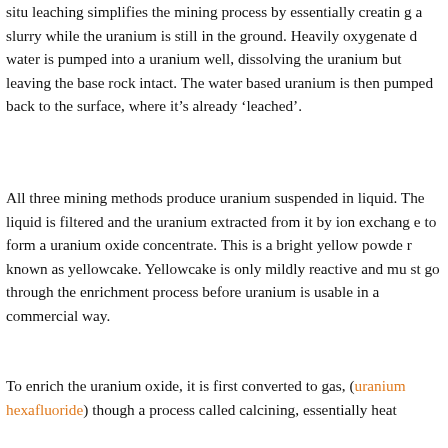situ leaching simplifies the mining process by essentially creating a slurry while the uranium is still in the ground. Heavily oxygenated water is pumped into a uranium well, dissolving the uranium but leaving the base rock intact. The water based uranium is then pumped back to the surface, where it's already 'leached'.
All three mining methods produce uranium suspended in liquid. The liquid is filtered and the uranium extracted from it by ion exchange to form a uranium oxide concentrate. This is a bright yellow powder known as yellowcake. Yellowcake is only mildly reactive and must go through the enrichment process before uranium is usable in a commercial way.
To enrich the uranium oxide, it is first converted to gas, (uranium hexafluoride) though a process called calcining, essentially heated to a very high temperature. The gas can then be enriched to make it concentrated in uranium isotope 235, the isotope most needed for nuclear power. To do this, the centrifuge process is used, separating the uranium 235 from waste uranium by repeatedly diffusing the gas through a silver-zinc membrane in thousands of fast-spinning vacuum tubes.
Once the uranium hexafluoride has been enriched, it is chemica...